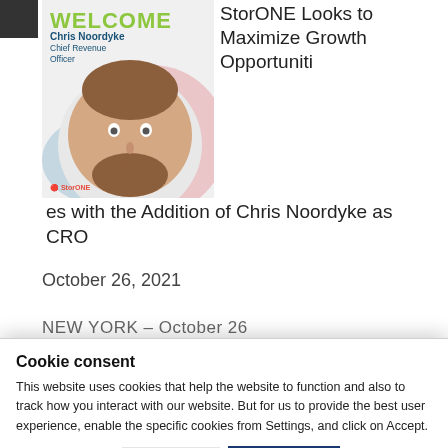[Figure (photo): Welcome card for Chris Noordyke, Chief Revenue Officer, with StorONE branding, colorful abstract background with circular photo of a man with a beard smiling, StorONE logo at bottom left]
StorONE Looks to Maximize Growth Opportunities with the Addition of Chris Noordyke as CRO
October 26, 2021
NEW YORK – October 26
Cookie consent
This website uses cookies that help the website to function and also to track how you interact with our website. But for us to provide the best user experience, enable the specific cookies from Settings, and click on Accept.